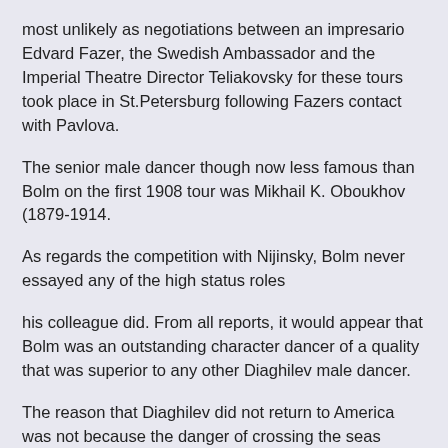most unlikely as negotiations between an impresario Edvard Fazer, the Swedish Ambassador and the Imperial Theatre Director Teliakovsky for these tours took place in St.Petersburg following Fazers contact with Pavlova.
The senior male dancer though now less famous than Bolm on the first 1908 tour was Mikhail K. Oboukhov (1879-1914.
As regards the competition with Nijinsky, Bolm never essayed any of the high status roles
his colleague did. From all reports, it would appear that Bolm was an outstanding character dancer of a quality that was superior to any other Diaghilev male dancer.
The reason that Diaghilev did not return to America was not because the danger of crossing the seas during wartime but a morbid fear of the sea.
Bolm being the first choreographer of 'Apollo' is important and fairly unknown, but he also choreographed a version of Stravinsky's "The Firebird " for Ballet theatre at the Metropolitan Opera House premiered on 24th October 1945